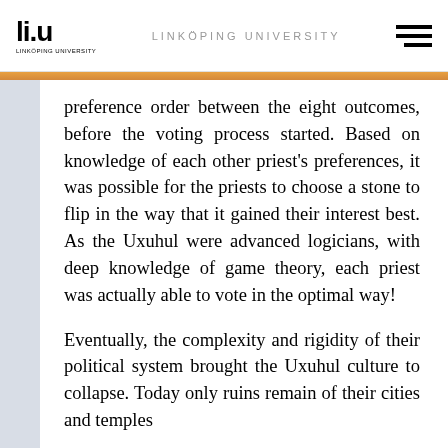LINKÖPING UNIVERSITY
preference order between the eight outcomes, before the voting process started. Based on knowledge of each other priest's preferences, it was possible for the priests to choose a stone to flip in the way that it gained their interest best. As the Uxuhul were advanced logicians, with deep knowledge of game theory, each priest was actually able to vote in the optimal way!
Eventually, the complexity and rigidity of their political system brought the Uxuhul culture to collapse. Today only ruins remain of their cities and temples